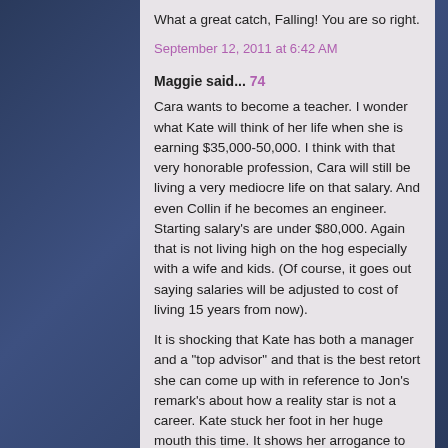What a great catch, Falling! You are so right.
September 12, 2011 at 6:42 AM
Maggie said... 74
Cara wants to become a teacher. I wonder what Kate will think of her life when she is earning $35,000-50,000. I think with that very honorable profession, Cara will still be living a very mediocre life on that salary. And even Collin if he becomes an engineer. Starting salary's are under $80,000. Again that is not living high on the hog especially with a wife and kids. (Of course, it goes out saying salaries will be adjusted to cost of living 15 years from now).
It is shocking that Kate has both a manager and a "top advisor" and that is the best retort she can come up with in reference to Jon's remark's about how a reality star is not a career. Kate stuck her foot in her huge mouth this time. It shows her arrogance to no end.
September 12, 2011 at 6:42 AM